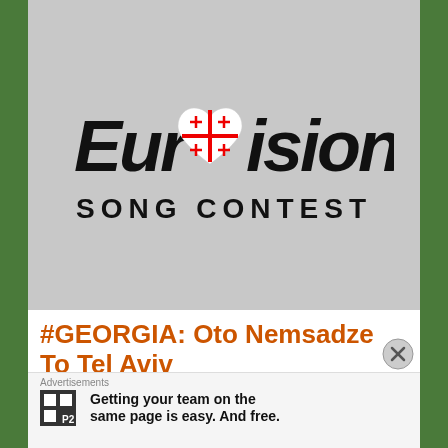[Figure (logo): Eurovision Song Contest logo with Georgian flag heart motif in the 'O' of Eurovision, text SONG CONTEST below]
#GEORGIA: Oto Nemsadze To Tel Aviv
BY ESCPPEUROVISION ON MARCH 4, 2019 • ( LEAVE A COMMENT )
Tonight in Georgia, Oto Nemsadze was chosen by a
Advertisements
Getting your team on the same page is easy. And free.